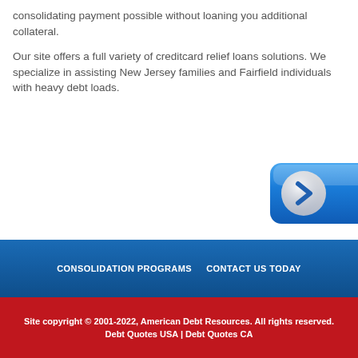consolidating payment possible without loaning you additional collateral.
Our site offers a full variety of creditcard relief loans solutions. We specialize in assisting New Jersey families and Fairfield individuals with heavy debt loads.
[Figure (illustration): Blue CTA button with white circle arrow icon (chevron right) partially visible at right edge of page]
CONSOLIDATION PROGRAMS   CONTACT US TODAY
Site copyright © 2001-2022, American Debt Resources. All rights reserved. Debt Quotes USA | Debt Quotes CA